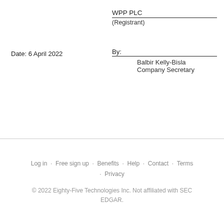WPP PLC
(Registrant)
Date: 6 April 2022
By:
Balbir Kelly-Bisla
Company Secretary
Log in · Free sign up · Benefits · Help · Contact · Terms · Privacy
© 2022 Eighty-Five Technologies Inc. Not affiliated with SEC EDGAR.